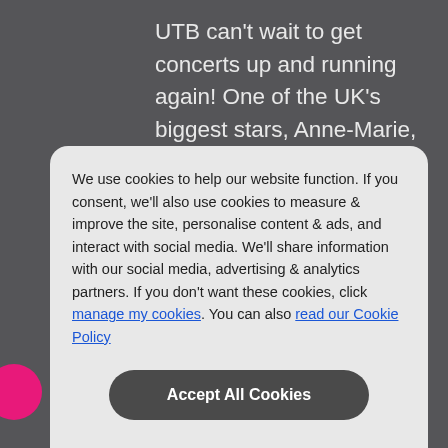UTB can't wait to get concerts up and running again! One of the UK's biggest stars, Anne-Marie, is launching Capital Up Close, a new series of live gigs with Barclaycard. The concert takes place on Wednesday 28th July 2021 exclusively for Capital
We use cookies to help our website function. If you consent, we'll also use cookies to measure & improve the site, personalise content & ads, and interact with social media. We'll share information with our social media, advertising & analytics partners. If you don't want these cookies, click manage my cookies. You can also read our Cookie Policy
Accept All Cookies